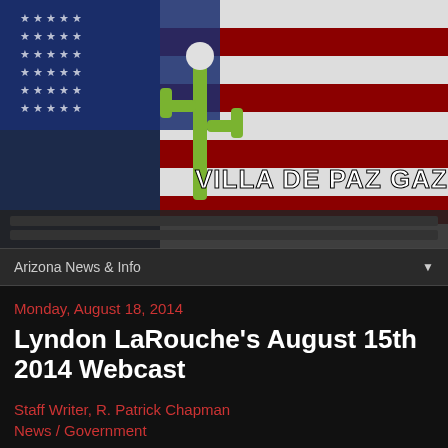[Figure (logo): Villa De Paz Gazette banner/logo with American flag and cactus imagery, white bold text reading VILLA DE PAZ GAZETTE]
Arizona News & Info
Monday, August 18, 2014
Lyndon LaRouche's August 15th 2014 Webcast
Staff Writer, R. Patrick Chapman
News / Government